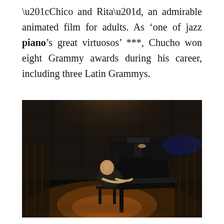“Chico and Rita”, an admirable animated film for adults. As ‘one of jazz piano’s great virtuosos’ ***, Chucho won eight Grammy awards during his career, including three Latin Grammys.
[Figure (photo): A pianist performing on a grand piano on a dimly lit stage. The performer, wearing a patterned shirt, is illuminated by a warm spotlight. The background shows dark wooden panels. The grand piano is black and gleaming.]